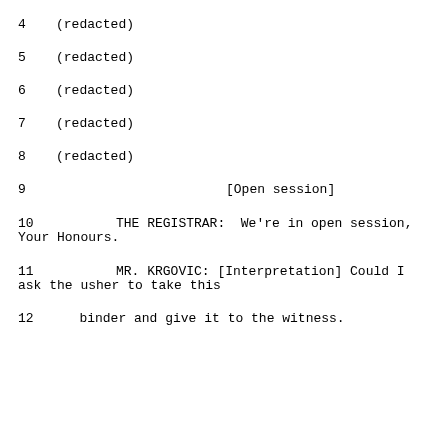4    (redacted)
5    (redacted)
6    (redacted)
7    (redacted)
8    (redacted)
9                                [Open session]
10               THE REGISTRAR:  We're in open session, Your Honours.
11               MR. KRGOVIC: [Interpretation] Could I ask the usher to take this
12     binder and give it to the witness.